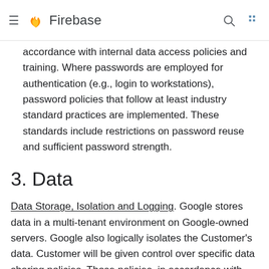Firebase
accordance with internal data access policies and training. Where passwords are employed for authentication (e.g., login to workstations), password policies that follow at least industry standard practices are implemented. These standards include restrictions on password reuse and sufficient password strength.
3. Data
Data Storage, Isolation and Logging. Google stores data in a multi-tenant environment on Google-owned servers. Google also logically isolates the Customer's data. Customer will be given control over specific data sharing policies. Those policies, in accordance with the functionality of the Services, will enable Customer to